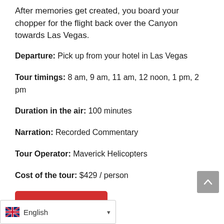After memories get created, you board your chopper for the flight back over the Canyon towards Las Vegas.
Departure: Pick up from your hotel in Las Vegas
Tour timings: 8 am, 9 am, 11 am, 12 noon, 1 pm, 2 pm
Duration in the air: 100 minutes
Narration: Recorded Commentary
Tour Operator: Maverick Helicopters
Cost of the tour: $429 / person
Find Out More
Heli Tour With Below the Rim and Skywalk